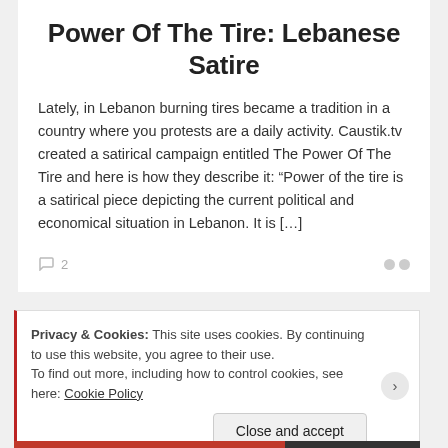Power Of The Tire: Lebanese Satire
Lately, in Lebanon burning tires became a tradition in a country where you protests are a daily activity. Caustik.tv created a satirical campaign entitled The Power Of The Tire and here is how they describe it: “Power of the tire is a satirical piece depicting the current political and economical situation in Lebanon. It is […]
2
Privacy & Cookies: This site uses cookies. By continuing to use this website, you agree to their use.
To find out more, including how to control cookies, see here: Cookie Policy
Close and accept